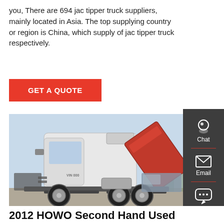you, There are 694 jac tipper truck suppliers, mainly located in Asia. The top supplying country or region is China, which supply of jac tipper truck respectively.
GET A QUOTE
[Figure (photo): 2012 HOWO heavy truck tractor with cab tilted forward, white and red, photographed in a yard]
2012 HOWO Second Hand Used